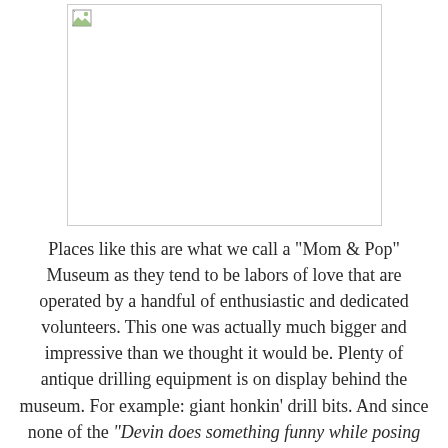[Figure (photo): Broken/missing image placeholder with border, showing a small broken image icon in the top-left corner]
Places like this are what we call a "Mom & Pop" Museum as they tend to be labors of love that are operated by a handful of enthusiastic and dedicated volunteers. This one was actually much bigger and impressive than we thought it would be. Plenty of antique drilling equipment is on display behind the museum. For example: giant honkin' drill bits. And since none of the "Devin does something funny while posing next a giant honkin' drill bit" pictures turned out very well, here's the regular one: